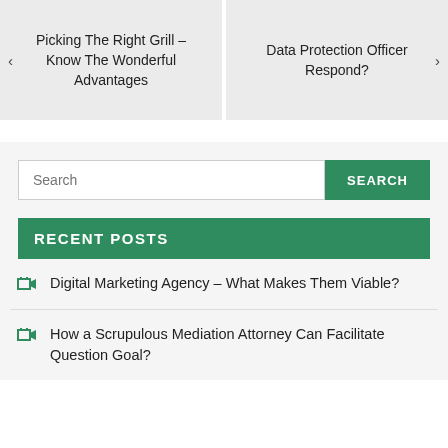< Picking The Right Grill – Know The Wonderful Advantages
Data Protection Officer Respond? >
Search
RECENT POSTS
Digital Marketing Agency – What Makes Them Viable?
How a Scrupulous Mediation Attorney Can Facilitate Question Goal?